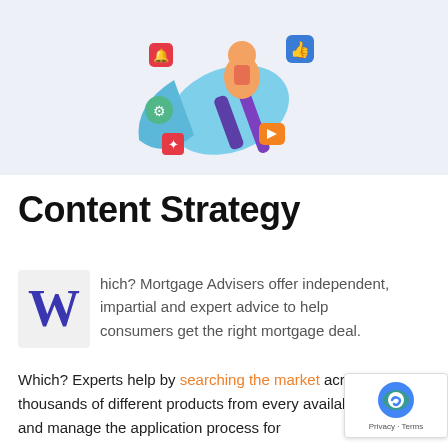[Figure (illustration): Colorful illustration of a person sitting on a large megaphone/loudspeaker with social media icons (thumbs up, video play button, notification bell, gears) floating around, on a light lavender/blue background.]
Content Strategy
Which? Mortgage Advisers offer independent, impartial and expert advice to help consumers get the right mortgage deal.
Which? Experts help by searching the market across thousands of different products from every available vendor and manage the application process for